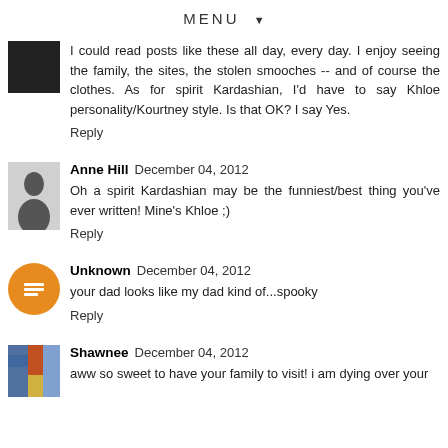MENU ▼
I could read posts like these all day, every day. I enjoy seeing the family, the sites, the stolen smooches -- and of course the clothes. As for spirit Kardashian, I'd have to say Khloe personality/Kourtney style. Is that OK? I say Yes.
Reply
Anne Hill  December 04, 2012
Oh a spirit Kardashian may be the funniest/best thing you've ever written! Mine's Khloe ;)
Reply
Unknown  December 04, 2012
your dad looks like my dad kind of...spooky
Reply
Shawnee  December 04, 2012
aww so sweet to have your family to visit! i am dying over your